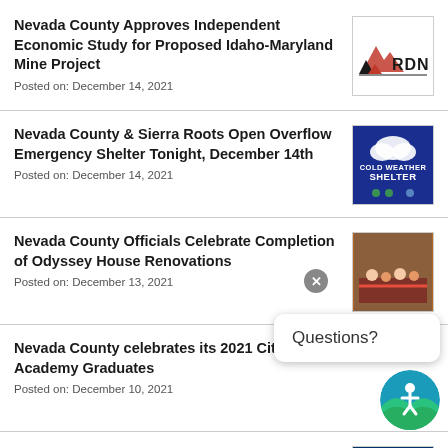Nevada County Approves Independent Economic Study for Proposed Idaho-Maryland Mine Project
Posted on: December 14, 2021
[Figure (logo): RDN logo - red and black stylized mountain/arrow graphic with text RDN]
Nevada County & Sierra Roots Open Overflow Emergency Shelter Tonight, December 14th
Posted on: December 14, 2021
[Figure (photo): Cold Weather Shelter promotional image with blue background and text COLD WEATHER SHELTER]
Nevada County Officials Celebrate Completion of Odyssey House Renovations
Posted on: December 13, 2021
[Figure (photo): Photo of people at Odyssey House ribbon cutting ceremony]
Nevada County celebrates its 2021 Citizen's Academy Graduates
Posted on: December 10, 2021
[Figure (photo): Photo of Citizens Academy graduates group]
Nevada County Honored with Four 2021 CSAC Awards
[Figure (logo): CSAC logo - dark blue background with stylized state map graphic]
Questions?